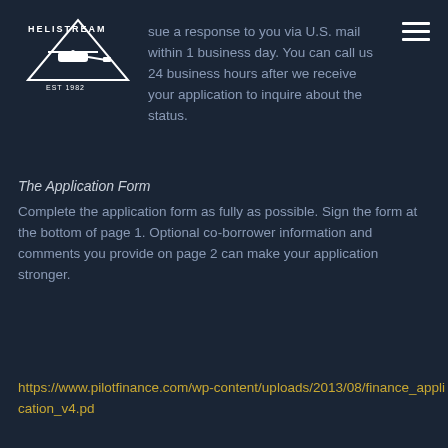HELISTREAM EST 1982
sue a response to you via U.S. mail within 1 business day. You can call us 24 business hours after we receive your application to inquire about the status.
The Application Form
Complete the application form as fully as possible. Sign the form at the bottom of page 1. Optional co-borrower information and comments you provide on page 2 can make your application stronger.
https://www.pilotfinance.com/wp-content/uploads/2013/08/finance_application_v4.pd